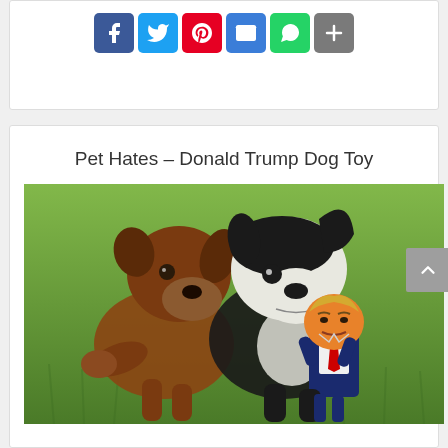[Figure (other): Social media share buttons: Facebook (blue), Twitter (light blue), Pinterest (red), Email (blue), WhatsApp (green), Share (gray)]
Pet Hates – Donald Trump Dog Toy
[Figure (photo): Two Boston Terrier / Boxer mix dogs playing on grass, one holding a Donald Trump caricature doll toy in its mouth]